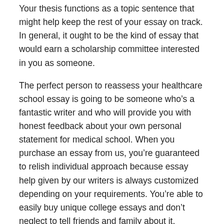Your thesis functions as a topic sentence that might help keep the rest of your essay on track. In general, it ought to be the kind of essay that would earn a scholarship committee interested in you as someone.
The perfect person to reassess your healthcare school essay is going to be someone who’s a fantastic writer and who will provide you with honest feedback about your own personal statement for medical school. When you purchase an essay from us, you’re guaranteed to relish individual approach because essay help given by our writers is always customized depending on your requirements. You’re able to easily buy unique college essays and don’t neglect to tell friends and family about it.